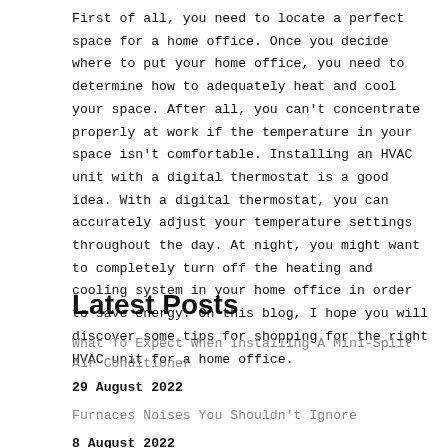First of all, you need to locate a perfect space for a home office. Once you decide where to put your home office, you need to determine how to adequately heat and cool your space. After all, you can't concentrate properly at work if the temperature in your space isn't comfortable. Installing an HVAC unit with a digital thermostat is a good idea. With a digital thermostat, you can accurately adjust your temperature settings throughout the day. At night, you might want to completely turn off the heating and cooling system in your home office in order to save energy. On this blog, I hope you will discover some tips for shopping for the right HVAC unit for a home office.
Latest Posts
What To Expect When Installing A Mini-Split Air Conditioner
29 August 2022
Furnaces Noises You Shouldn't Ignore
8 August 2022